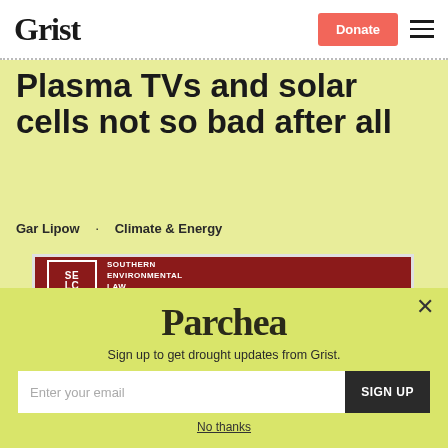Grist | Donate | Menu
Plasma TVs and solar cells not so bad after all
Gar Lipow · Climate & Energy
[Figure (logo): Southern Environmental Law Center (SELC) logo on a dark red background]
[Figure (screenshot): Parchea modal popup with email signup form. Text: Sign up to get drought updates from Grist. Email input and SIGN UP button. No thanks link at bottom.]